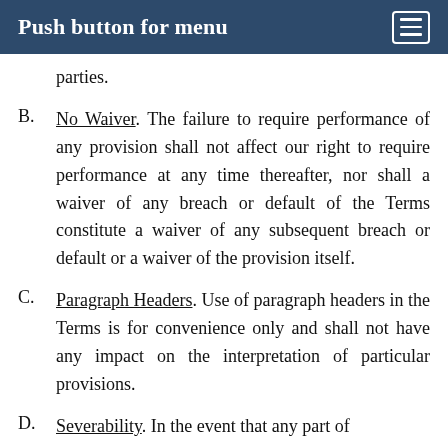Push button for menu
parties.
B. No Waiver. The failure to require performance of any provision shall not affect our right to require performance at any time thereafter, nor shall a waiver of any breach or default of the Terms constitute a waiver of any subsequent breach or default or a waiver of the provision itself.
C. Paragraph Headers. Use of paragraph headers in the Terms is for convenience only and shall not have any impact on the interpretation of particular provisions.
D. Severability. In the event that any part of